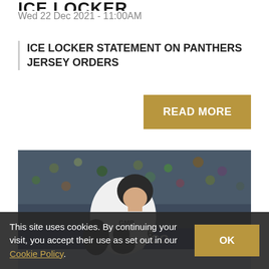ICE LOCKER
Wed 22 Dec 2021 - 11:00AM
ICE LOCKER STATEMENT ON PANTHERS JERSEY ORDERS
READ MORE
[Figure (photo): Ice hockey player wearing a white GMB Panthers jersey with number 6, standing on ice with crowd in background and an arena advertising board reading 'entre.co']
This site uses cookies. By continuing your visit, you accept their use as set out in our Cookie Policy. OK
CHRISTMAS